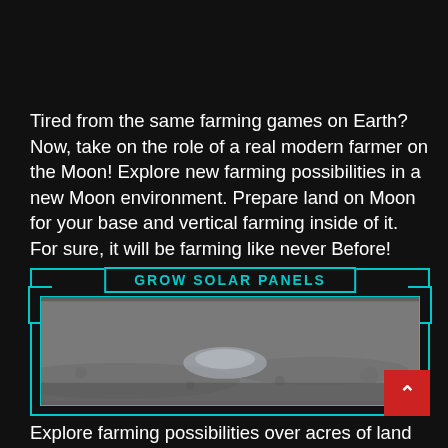Tired from the same farming games on Earth? Now, take on the role of a real modern farmer on the Moon! Explore new farming possibilities in a new Moon environment. Prepare land on Moon for your base and vertical farming inside of it. For sure, it will be farming like never Before!
[Figure (screenshot): A game UI panel with teal border frame, header reading 'GROW SOLAR PANELS', and an inner image showing the lunar surface (grey moon terrain). A red scroll-up button with a chevron arrow is overlaid in the bottom-right corner.]
Explore farming possibilities over acres of land on Moon! Start from scratch with prepare land on Moon